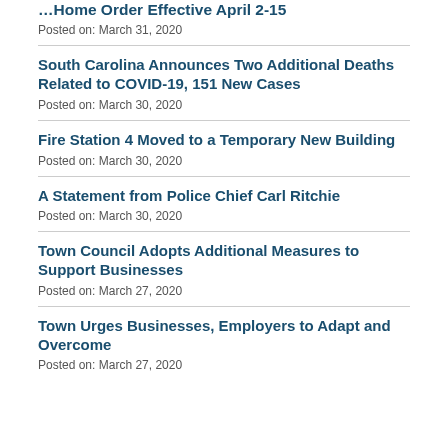…Home Order Effective April 2-15
Posted on: March 31, 2020
South Carolina Announces Two Additional Deaths Related to COVID-19, 151 New Cases
Posted on: March 30, 2020
Fire Station 4 Moved to a Temporary New Building
Posted on: March 30, 2020
A Statement from Police Chief Carl Ritchie
Posted on: March 30, 2020
Town Council Adopts Additional Measures to Support Businesses
Posted on: March 27, 2020
Town Urges Businesses, Employers to Adapt and Overcome
Posted on: March 27, 2020